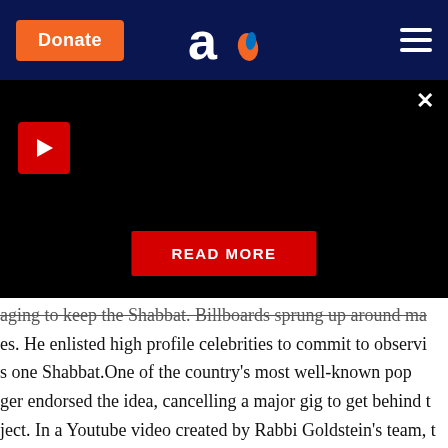Donate | Aish logo | Navigation menu
[Figure (screenshot): Black video player area with red play button, close (X) button, and red READ MORE button]
aging to keep the Shabbat. Billboards sprung up around ma- es. He enlisted high profile celebrities to commit to observi- s one Shabbat.One of the country's most well-known pop ger endorsed the idea, cancelling a major gig to get behind t- ject. In a Youtube video created by Rabbi Goldstein's team, t- untry's most popular comedian deadpanned: "Guys. This is my a. Be a good Jew for one weekend. How much is it to ask?... c- ekend. And if you don't feel inspired … then do it out of Jewis- t… and 'cuz your mother-in-law will be proud of you."